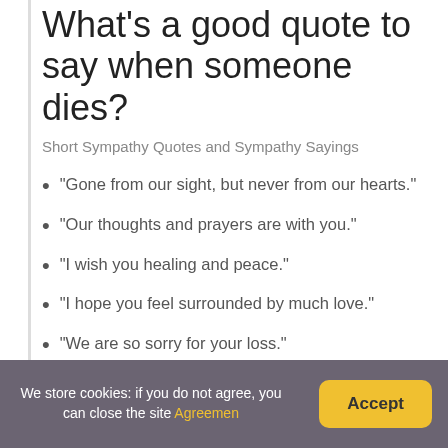What's a good quote to say when someone dies?
Short Sympathy Quotes and Sympathy Sayings
“Gone from our sight, but never from our hearts.”
“Our thoughts and prayers are with you.”
“I wish you healing and peace.”
“I hope you feel surrounded by much love.”
“We are so sorry for your loss.”
“We are thinking of you during these difficult times.”
What are some death
We store cookies: if you do not agree, you can close the site Agreemen